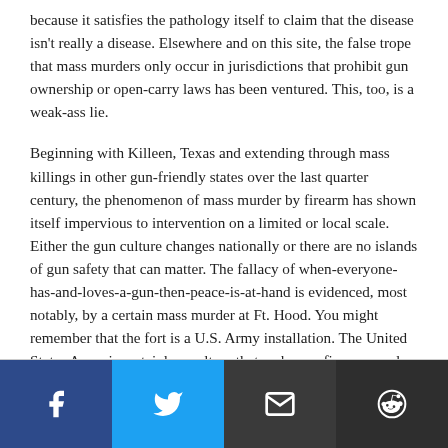because it satisfies the pathology itself to claim that the disease isn't really a disease. Elsewhere and on this site, the false trope that mass murders only occur in jurisdictions that prohibit gun ownership or open-carry laws has been ventured. This, too, is a weak-ass lie.
Beginning with Killeen, Texas and extending through mass killings in other gun-friendly states over the last quarter century, the phenomenon of mass murder by firearm has shown itself impervious to intervention on a limited or local scale. Either the gun culture changes nationally or there are no islands of gun safety that can matter. The fallacy of when-everyone-has-and-loves-a-gun-then-peace-is-at-hand is evidenced, most notably, by a certain mass murder at Ft. Hood. You might remember that the fort is a U.S. Army installation. The United States Army is certainly a culture that embraces firearms and provides its personnel with ample weaponry. And still.
[Figure (other): Social sharing bar with four buttons: Facebook (dark blue), Twitter (light blue), Email (dark gray), Reddit (dark gray)]